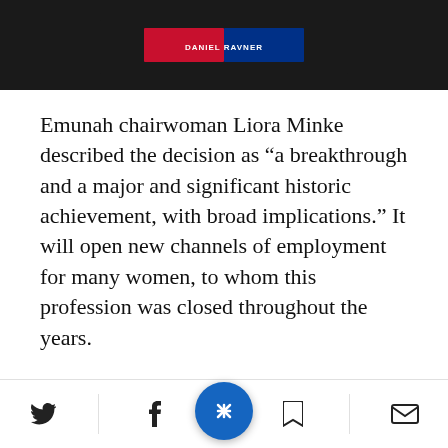[Figure (photo): Dark background with a book spine showing red and blue colors and text 'Daniel Ravner']
Emunah chairwoman Liora Minke described the decision as “a breakthrough and a major and significant historic achievement, with broad implications.” It will open new channels of employment for many women, to whom this profession was closed throughout the years.
Despite the opposition of some of the members of the Chief Rabbinate Council, Emunah announced th…rst supervisor